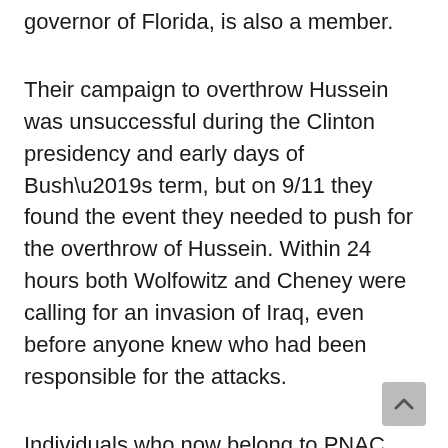governor of Florida, is also a member.
Their campaign to overthrow Hussein was unsuccessful during the Clinton presidency and early days of Bush’s term, but on 9/11 they found the event they needed to push for the overthrow of Hussein. Within 24 hours both Wolfowitz and Cheney were calling for an invasion of Iraq, even before anyone knew who had been responsible for the attacks.
Individuals who now belong to PNAC have been influencing White House policy since the Reagan era, calling for coups in Central America and claiming that a nuclear war with Russia could be “winnable.” Richard Perle is one of their most prominent spokesmen. He and Michael Ledeen (of the American Enterprise Institute), who is currently